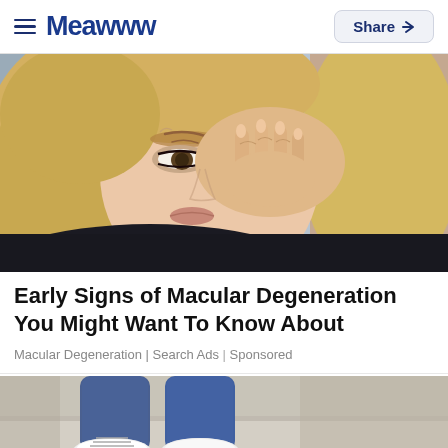≡ Meawww  Share ↗
[Figure (photo): Close-up of a young blonde woman rubbing her right eye with her fingers, looking distressed, wearing a dark top, blurred urban background]
Early Signs of Macular Degeneration You Might Want To Know About
Macular Degeneration | Search Ads | Sponsored
[Figure (photo): Partial view of a person sitting outdoors wearing jeans and white sneakers, lower body only visible]